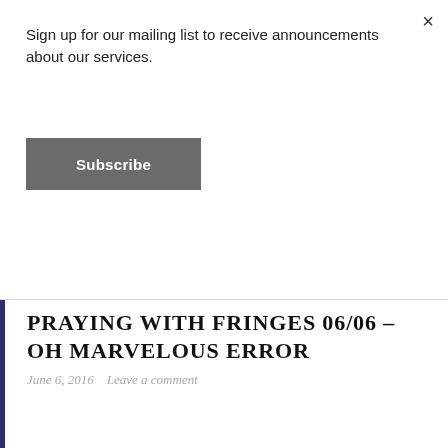Sign up for our mailing list to receive announcements about our services.
Subscribe
PRAYING WITH FRINGES 06/06 – OH MARVELOUS ERROR
June 6, 2016   Leave a comment
Untitled (Making Honey) Antonio Machado I dreamt last night oh marvelous error, that there were honeybees in my heart, making honey out of my old failures.
SHARE THIS: